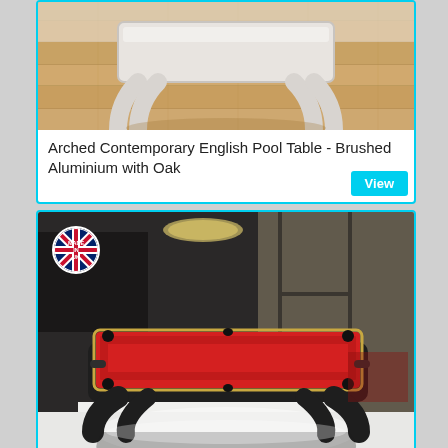[Figure (photo): Photo of Arched Contemporary English Pool Table in Brushed Aluminium with Oak finish, showing a white/silver arched base on oak wood floor]
Arched Contemporary English Pool Table - Brushed Aluminium with Oak
[Figure (photo): Photo of a black pool table with red baize/cloth and gold trim, arched legs, in a modern room setting with a UK Made badge overlay]